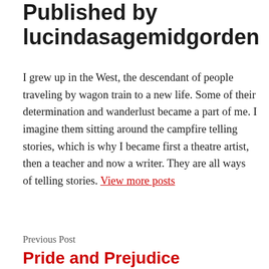Published by lucindasagemidgorden
I grew up in the West, the descendant of people traveling by wagon train to a new life. Some of their determination and wanderlust became a part of me. I imagine them sitting around the campfire telling stories, which is why I became first a theatre artist, then a teacher and now a writer. They are all ways of telling stories. View more posts
Previous Post
Pride and Prejudice